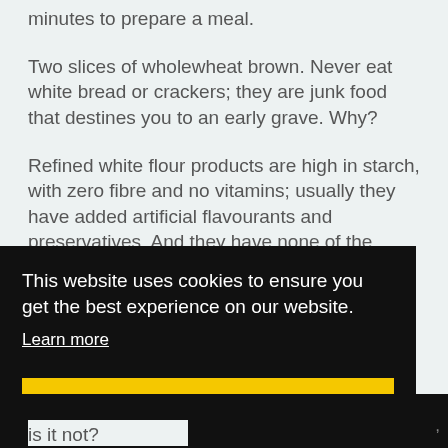minutes to prepare a meal.
Two slices of wholewheat brown. Never eat white bread or crackers; they are junk food that destines you to an early grave. Why?
Refined white flour products are high in starch, with zero fibre and no vitamins; usually they have added artificial flavourants and preservatives. And they have none of the
This website uses cookies to ensure you get the best experience on our website. Learn more
Got it!
is it not?